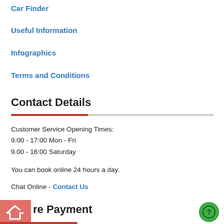Car Finder
Useful Information
Infographics
Terms and Conditions
Contact Details
Customer Service Opening Times:
9.00 - 17:00 Mon - Fri
9.00 - 16:00 Saturday
You can book online 24 hours a day.
Chat Online - Contact Us
Secure Payment